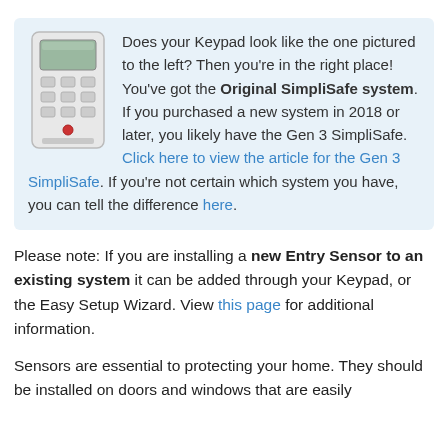Does your Keypad look like the one pictured to the left? Then you're in the right place! You've got the Original SimpliSafe system. If you purchased a new system in 2018 or later, you likely have the Gen 3 SimpliSafe. Click here to view the article for the Gen 3 SimpliSafe. If you're not certain which system you have, you can tell the difference here.
Please note: If you are installing a new Entry Sensor to an existing system it can be added through your Keypad, or the Easy Setup Wizard. View this page for additional information.
Sensors are essential to protecting your home. They should be installed on doors and windows that are easily accessible.